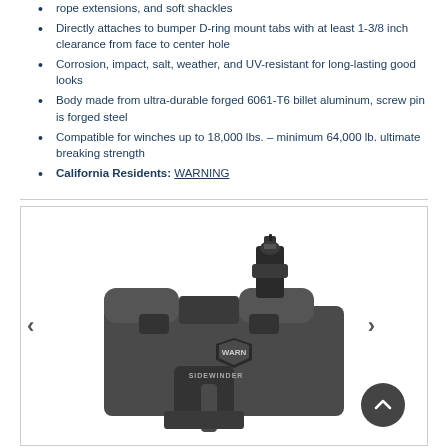rope extensions, and soft shackles
Directly attaches to bumper D-ring mount tabs with at least 1-3/8 inch clearance from face to center hole
Corrosion, impact, salt, weather, and UV-resistant for long-lasting good looks
Body made from ultra-durable forged 6061-T6 billet aluminum, screw pin is forged steel
Compatible for winches up to 18,000 lbs. – minimum 64,000 lb. ultimate breaking strength
California Residents: WARNING
[Figure (photo): WARN Sidewinder D-ring shackle mount product photo showing a dark gray forged aluminum body with WARN logo and SIDEWINDER text, with a screw pin assembly at top, navigation arrows on left and right sides, and a scroll-to-top button in the lower right corner.]